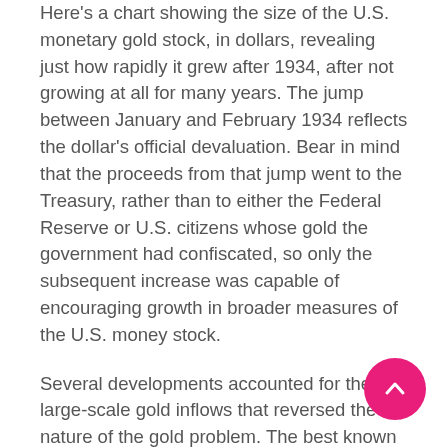Here's a chart showing the size of the U.S. monetary gold stock, in dollars, revealing just how rapidly it grew after 1934, after not growing at all for many years. The jump between January and February 1934 reflects the dollar's official devaluation. Bear in mind that the proceeds from that jump went to the Treasury, rather than to either the Federal Reserve or U.S. citizens whose gold the government had confiscated, so only the subsequent increase was capable of encouraging growth in broader measures of the U.S. money stock.
Several developments accounted for the large-scale gold inflows that reversed the nature of the gold problem. The best known of these was the growing fear, after Hitler became Germany's chancellor, that war would once again break out in Europe. Besides causing Europeans to shift their savings to the United States, with a…